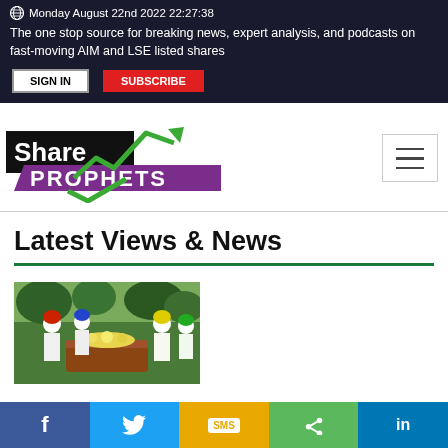Monday August 22nd 2022 22:27:38
The one stop source for breaking news, expert analysis, and podcasts on fast-moving AIM and LSE listed shares
[Figure (logo): ShareProphets logo with green arrow chart and purple banner]
Latest Views & News
[Figure (photo): Clowns in colourful costumes gathered around a coffin with flowers at a funeral]
Share buttons: Facebook, Twitter, SMS, Share, LinkedIn